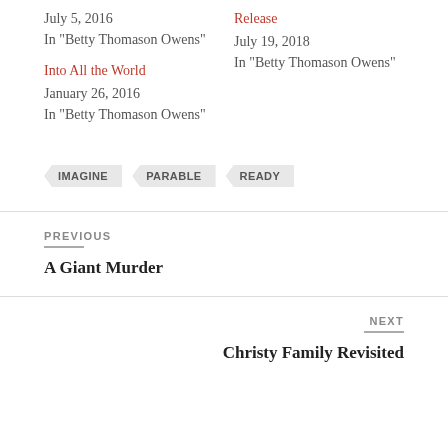July 5, 2016
In "Betty Thomason Owens"
Release
July 19, 2018
In "Betty Thomason Owens"
Into All the World
January 26, 2016
In "Betty Thomason Owens"
IMAGINE
PARABLE
READY
PREVIOUS
A Giant Murder
NEXT
Christy Family Revisited